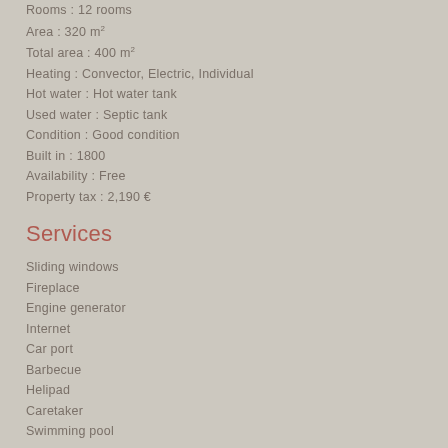Rooms : 12 rooms
Area : 320 m²
Total area : 400 m²
Heating : Convector, Electric, Individual
Hot water : Hot water tank
Used water : Septic tank
Condition : Good condition
Built in : 1800
Availability : Free
Property tax : 2,190 €
Services
Sliding windows
Fireplace
Engine generator
Internet
Car port
Barbecue
Helipad
Caretaker
Swimming pool